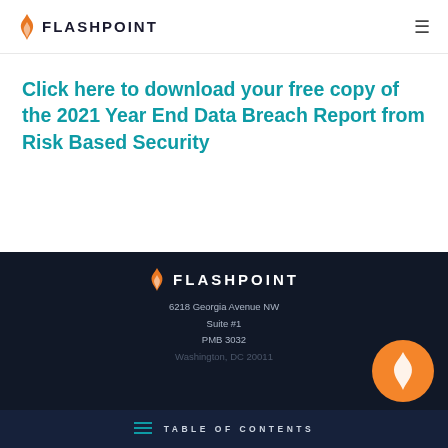FLASHPOINT
Click here to download your free copy of the 2021 Year End Data Breach Report from Risk Based Security
FLASHPOINT
6218 Georgia Avenue NW
Suite #1
PMB 3032
Washington, DC 20011
TABLE OF CONTENTS